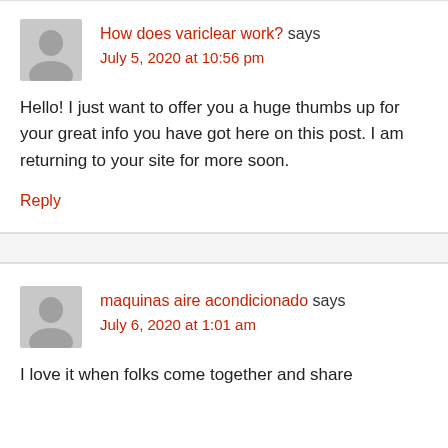How does variclear work? says
July 5, 2020 at 10:56 pm
Hello! I just want to offer you a huge thumbs up for your great info you have got here on this post. I am returning to your site for more soon.
Reply
maquinas aire acondicionado says
July 6, 2020 at 1:01 am
I love it when folks come together and share